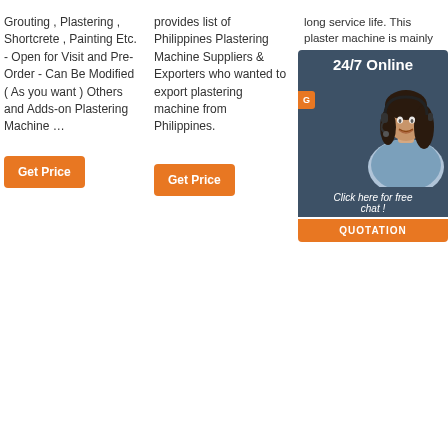Grouting , Plastering , Shortcrete , Painting Etc. - Open for Visit and Pre-Order - Can Be Modified ( As you want ) Others and Adds-on Plastering Machine …
provides list of Philippines Plastering Machine Suppliers & Exporters who wanted to export plastering machine from Philippines.
long service life. This plaster machine is mainly used for pressure …
[Figure (other): 24/7 Online chat widget with woman wearing headset, Get Price button, Click here for free chat text, and QUOTATION button]
[Figure (photo): Yellow industrial drilling/grouting machine on tracks with company logo and CE, MA certifications]
[Figure (photo): Yellow concrete mixer/pump machine with company logo and CE, MA certifications]
[Figure (photo): Yellow plastering machine with spray gun, company logo, CE, MA certifications, and TOP label]